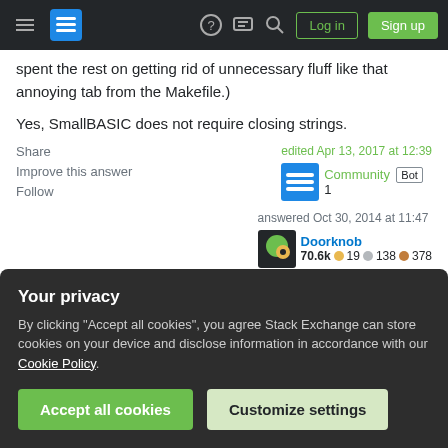Stack Exchange navigation bar with hamburger menu, logo, help, chat, search icons, Log in and Sign up buttons
...from Answer Bot (I could be in...) spent the rest on getting rid of unnecessary fluff like that annoying tab from the Makefile.)
Yes, SmallBASIC does not require closing strings.
Share | Improve this answer | Follow
edited Apr 13, 2017 at 12:39 — Community Bot 1
answered Oct 30, 2014 at 11:47 — Doorknob 70.6k ● 19 ● 138 ● 378
Your privacy
By clicking "Accept all cookies", you agree Stack Exchange can store cookies on your device and disclose information in accordance with our Cookie Policy.
Accept all cookies | Customize settings